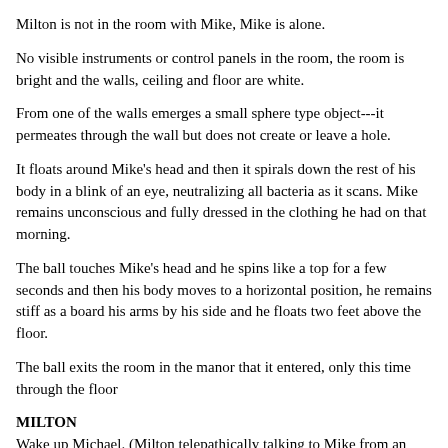Milton is not in the room with Mike, Mike is alone.
No visible instruments or control panels in the room, the room is bright and the walls, ceiling and floor are white.
From one of the walls emerges a small sphere type object---it permeates through the wall but does not create or leave a hole.
It floats around Mike’s head and then it spirals down the rest of his body in a blink of an eye, neutralizing all bacteria as it scans. Mike remains unconscious and fully dressed in the clothing he had on that morning.
The ball touches Mike’s head and he spins like a top for a few seconds and then his body moves to a horizontal position, he remains stiff as a board his arms by his side and he floats two feet above the floor.
The ball exits the room in the manor that it entered, only this time through the floor
MILTON
Wake up Michael. (Milton telepathically talking to Mike from an unknown location on the ship)
Mike...